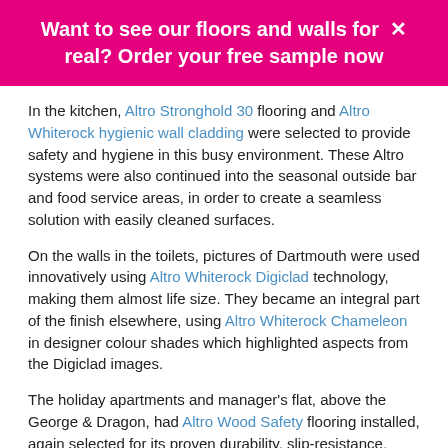Want to see our floors and walls for real? Order your free sample now
In the kitchen, Altro Stronghold 30 flooring and Altro Whiterock hygienic wall cladding were selected to provide safety and hygiene in this busy environment. These Altro systems were also continued into the seasonal outside bar and food service areas, in order to create a seamless solution with easily cleaned surfaces.
On the walls in the toilets, pictures of Dartmouth were used innovatively using Altro Whiterock Digiclad technology, making them almost life size. They became an integral part of the finish elsewhere, using Altro Whiterock Chameleon in designer colour shades which highlighted aspects from the Digiclad images.
The holiday apartments and manager's flat, above the George & Dragon, had Altro Wood Safety flooring installed, again selected for its proven durability, slip-resistance, ease of cleaning and good aesthetics.